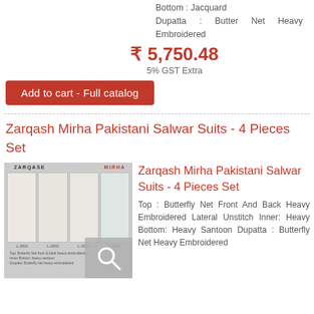Bottom : Jacquard
Dupatta : Butter Net Heavy Embroidered
₹ 5,750.48
5% GST Extra
Add to cart - Full catalog
Zarqash Mirha Pakistani Salwar Suits - 4 Pieces Set
[Figure (photo): Product catalog image showing Zarqash Mirha Pakistani Salwar Suits - 4 Pieces Set with 4 dress variants and a search icon overlay]
Zarqash Mirha Pakistani Salwar Suits - 4 Pieces Set
Top : Butterfly Net Front And Back Heavy Embroidered Lateral Unstitch Inner: Heavy Bottom: Heavy Santoon Dupatta : Butterfly Net Heavy Embroidered